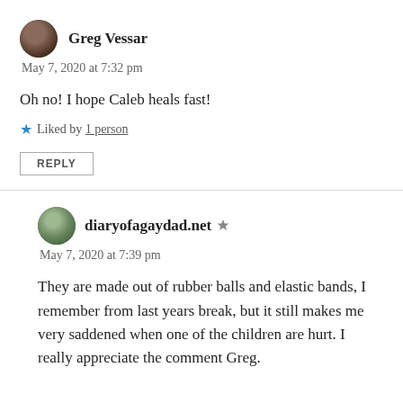Greg Vessar
May 7, 2020 at 7:32 pm
Oh no! I hope Caleb heals fast!
Liked by 1 person
REPLY
diaryofagaydad.net
May 7, 2020 at 7:39 pm
They are made out of rubber balls and elastic bands, I remember from last years break, but it still makes me very saddened when one of the children are hurt. I really appreciate the comment Greg.